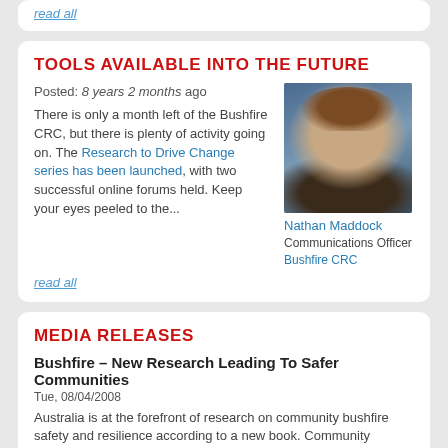read all
TOOLS AVAILABLE INTO THE FUTURE
Posted: 8 years 2 months ago There is only a month left of the Bushfire CRC, but there is plenty of activity going on. The Research to Drive Change series has been launched, with two successful online forums held. Keep your eyes peeled to the...
[Figure (photo): Headshot of Nathan Maddock, Communications Officer at Bushfire CRC]
Nathan Maddock Communications Officer Bushfire CRC
read all
MEDIA RELEASES
Bushfire – New Research Leading To Safer Communities
Tue, 08/04/2008
Australia is at the forefront of research on community bushfire safety and resilience according to a new book. Community Bushfire Safety brings together in one comprehensive volume the results of the most important community safety research being undertaken within the